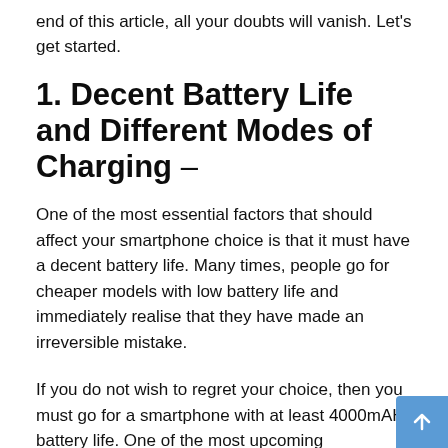end of this article, all your doubts will vanish. Let's get started.
1. Decent Battery Life and Different Modes of Charging –
One of the most essential factors that should affect your smartphone choice is that it must have a decent battery life. Many times, people go for cheaper models with low battery life and immediately realise that they have made an irreversible mistake.
If you do not wish to regret your choice, then you must go for a smartphone with at least 4000mAH battery life. One of the most upcoming smartphones